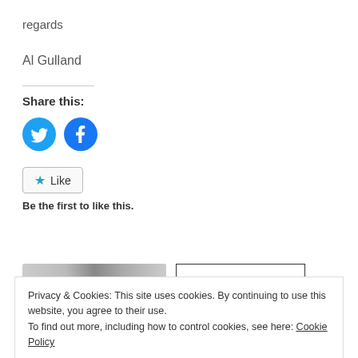regards
Al Gulland
Share this:
[Figure (illustration): Twitter and Facebook social share buttons as blue circles with white icons]
[Figure (illustration): Like button with star icon, and 'Be the first to like this.' text below]
Be the first to like this.
[Figure (photo): Partial thumbnail image at bottom left]
Privacy & Cookies: This site uses cookies. By continuing to use this website, you agree to their use.
To find out more, including how to control cookies, see here: Cookie Policy
Close and accept
Responsibilities
August 21, 2013
In "Delivery Methodology"